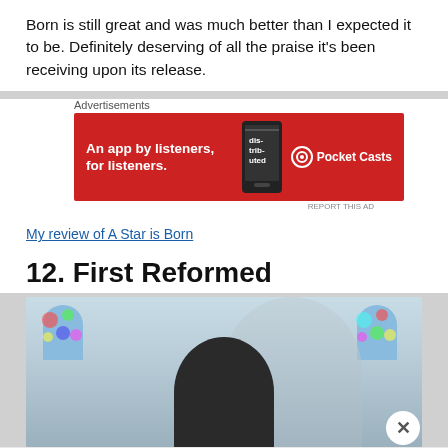Born is still great and was much better than I expected it to be. Definitely deserving of all the praise it's been receiving upon its release.
[Figure (other): Pocket Casts advertisement banner: red background with text 'An app by listeners, for listeners.' and Pocket Casts logo with phone graphic]
My review of A Star is Born
12. First Reformed
[Figure (photo): Movie still from First Reformed showing a man from behind in a church setting with stained glass windows]
[Figure (other): Seamless food delivery advertisement: dark background with pizza image, Seamless logo, and 'ORDER NOW' button]